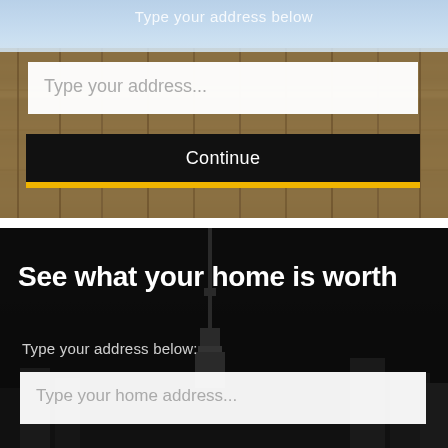[Figure (screenshot): Top section showing a wooden fence background with blue sky. Contains a text label 'Type your address below', a white address input box with placeholder 'Type your address...', a black Continue button, and a yellow horizontal bar beneath it.]
Type your address below
Type your address...
Continue
[Figure (screenshot): Bottom section with dark background showing a city silhouette. Contains heading 'See what your home is worth', subtitle 'Type your address below:', and a white input box with placeholder 'Type your home address...']
See what your home is worth
Type your address below:
Type your home address...